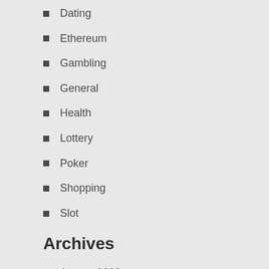Dating
Ethereum
Gambling
General
Health
Lottery
Poker
Shopping
Slot
Archives
August 2022
July 2022
June 2022
May 2022
April 2022
March 2022